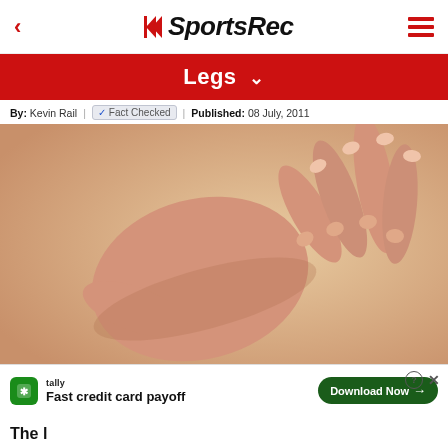SportsRec
Legs
By: Kevin Rail | ✓ Fact Checked | Published: 08 July, 2011
[Figure (photo): Close-up photo of a hand pressing against skin (leg massage demonstration)]
tally Fast credit card payoff Download Now
The l...